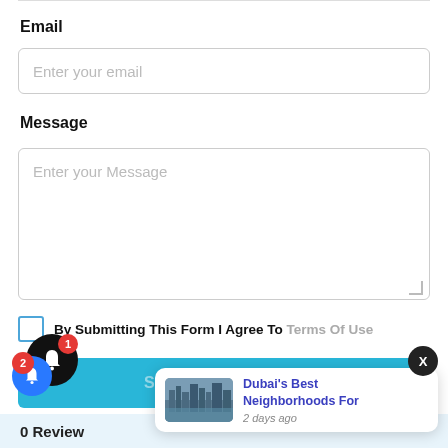Email
[Figure (screenshot): Email input field with placeholder text 'Enter your email']
Message
[Figure (screenshot): Message textarea with placeholder text 'Enter your Message']
By Submitting This Form I Agree To Terms Of Use
[Figure (screenshot): Submit button in cyan/blue color]
[Figure (screenshot): Notification popup card showing 'Dubai's Best Neighborhoods For' with timestamp '2 days ago' and a city photo]
0 Review